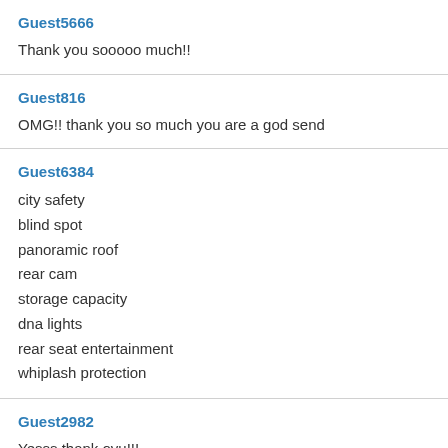Guest5666
Thank you sooooo much!!
Guest816
OMG!! thank you so much you are a god send
Guest6384
city safety
blind spot
panoramic roof
rear cam
storage capacity
dna lights
rear seat entertainment
whiplash protection
Guest2982
Yesss thank oyu!!!